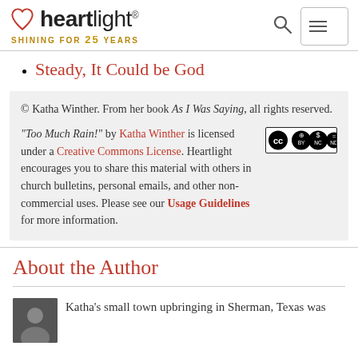Heartlight® — Shining for 25 Years
Steady, It Could be God
© Katha Winther. From her book As I Was Saying, all rights reserved.
"Too Much Rain!" by Katha Winther is licensed under a Creative Commons License. Heartlight encourages you to share this material with others in church bulletins, personal emails, and other non-commercial uses. Please see our Usage Guidelines for more information.
About the Author
Katha's small town upbringing in Sherman, Texas was